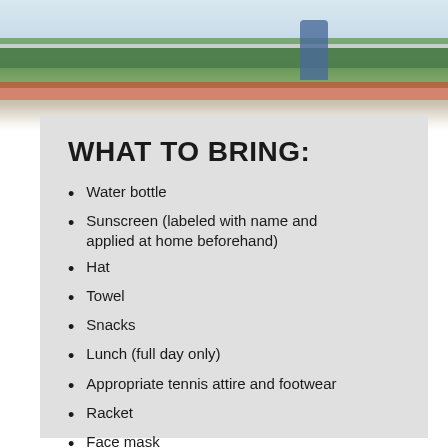[Figure (photo): Tennis court photo showing a net with green windscreen, red clay court strip, and a person in blue standing in the background. White sky at top.]
WHAT TO BRING:
Water bottle
Sunscreen (labeled with name and applied at home beforehand)
Hat
Towel
Snacks
Lunch (full day only)
Appropriate tennis attire and footwear
Racket
Face mask